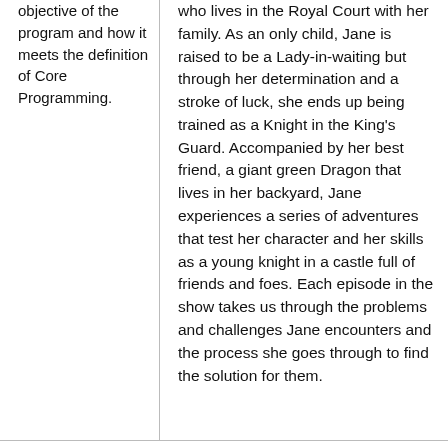objective of the program and how it meets the definition of Core Programming.
who lives in the Royal Court with her family. As an only child, Jane is raised to be a Lady-in-waiting but through her determination and a stroke of luck, she ends up being trained as a Knight in the King's Guard. Accompanied by her best friend, a giant green Dragon that lives in her backyard, Jane experiences a series of adventures that test her character and her skills as a young knight in a castle full of friends and foes. Each episode in the show takes us through the problems and challenges Jane encounters and the process she goes through to find the solution for them.